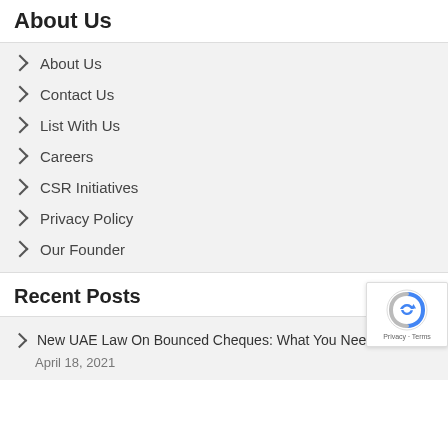About Us
About Us
Contact Us
List With Us
Careers
CSR Initiatives
Privacy Policy
Our Founder
[Figure (logo): reCAPTCHA badge with Privacy and Terms links]
Recent Posts
New UAE Law On Bounced Cheques: What You Need To Know
April 18, 2021